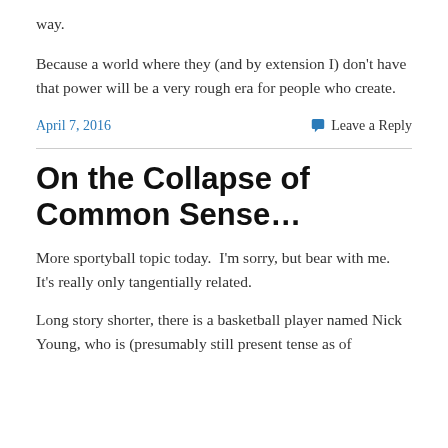way.
Because a world where they (and by extension I) don't have that power will be a very rough era for people who create.
April 7, 2016   Leave a Reply
On the Collapse of Common Sense…
More sportyball topic today.  I'm sorry, but bear with me.  It's really only tangentially related.
Long story shorter, there is a basketball player named Nick Young, who is (presumably still present tense as of